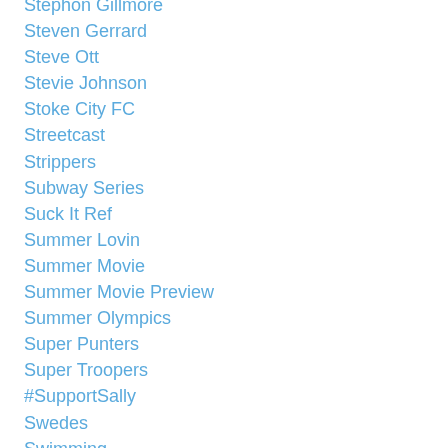Stephon Gillmore
Steven Gerrard
Steve Ott
Stevie Johnson
Stoke City FC
Streetcast
Strippers
Subway Series
Suck It Ref
Summer Lovin
Summer Movie
Summer Movie Preview
Summer Olympics
Super Punters
Super Troopers
#SupportSally
Swedes
Swimming
Syracuse Basketball
Tailgating
Tailgating At The Ralph